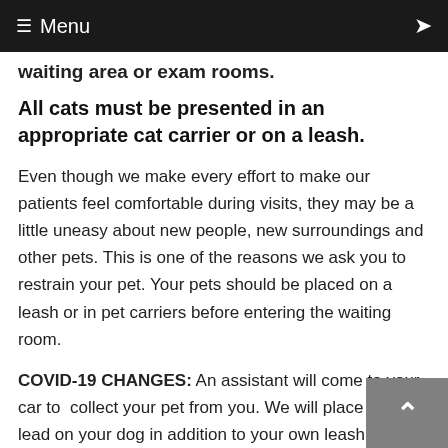≡ Menu
waiting area or exam rooms.
All cats must be presented in an appropriate cat carrier or on a leash.
Even though we make every effort to make our patients feel comfortable during visits, they may be a little uneasy about new people, new surroundings and other pets. This is one of the reasons we ask you to restrain your pet. Your pets should be placed on a leash or in pet carriers before entering the waiting room.
COVID-19 CHANGES: An assistant will come to your car to collect your pet from you. We will place a slip lead on your dog in addition to your own leash for additional security. All cats must be presented in a